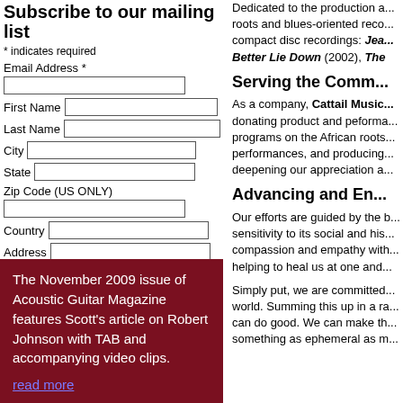Subscribe to our mailing list
* indicates required
Email Address *
First Name
Last Name
City
State
Zip Code (US ONLY)
Country
Address
Subscribe
The November 2009 issue of Acoustic Guitar Magazine features Scott's article on Robert Johnson with TAB and accompanying video clips.
read more
Dedicated to the production a... roots and blues-oriented reco... compact disc recordings: Jea... Better Lie Down (2002), The...
Serving the Comm...
As a company, Cattail Music... donating product and peforma... programs on the African roots... performances, and producing... deepening our appreciation a...
Advancing and En...
Our efforts are guided by the b... sensitivity to its social and his... compassion and empathy with... helping to heal us at one and...
Simply put, we are committed... world. Summing this up in a ra... can do good. We can make th... something as ephemeral as m...